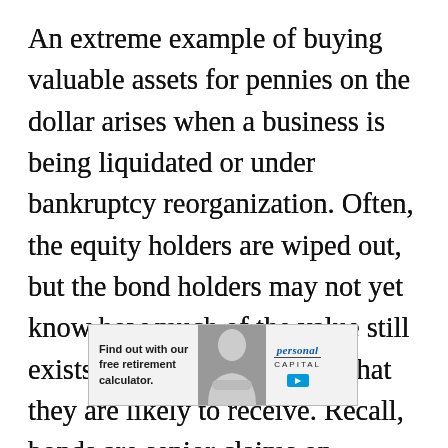An extreme example of buying valuable assets for pennies on the dollar arises when a business is being liquidated or under bankruptcy reorganization. Often, the equity holders are wiped out, but the bond holders may not yet know how much of the value still exists in the business assets that they are likely to receive. Recall, bonds are senior claims on business assets compared to equity. Even among bonds, some bonds may be more senior than others and some debt may have different priority than other debt and the...
[Figure (other): Advertisement overlay: 'Find out with our free retirement calculator.' showing a person and Personal Capital branding with a blue button.]